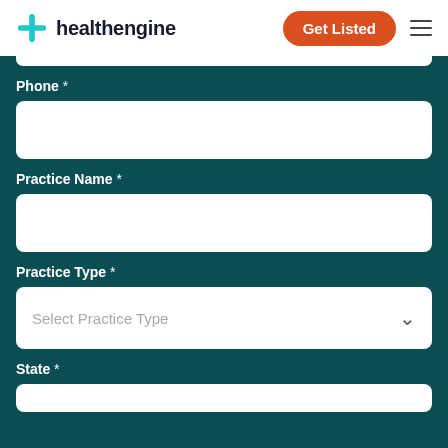healthengine | Get Listed
Phone *
Practice Name *
Practice Type *
Select Practice Type
State *